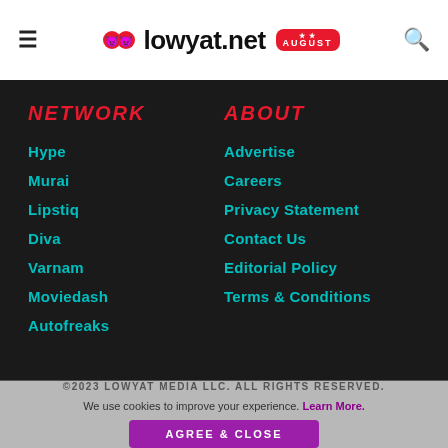lowyat.net
NETWORK
Hype
Murai
Lipstiq
Diva
Varnam
Moviedash
Autofreaks
ABOUT
Advertise
Careers
Privacy Statement
Contact Us
Editorial Policy
Terms & Conditions
©2023 LOWYAT MEDIA LLC. ALL RIGHTS RESERVED.
We use cookies to improve your experience. Learn More.